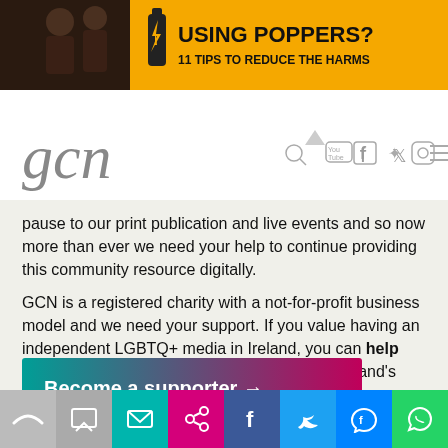[Figure (screenshot): Advertisement banner: orange background with two male figures silhouette on left, bottle icon, bold text 'USING POPPERS? 11 TIPS TO REDUCE THE HARMS']
[Figure (screenshot): GCN website navigation bar with logo 'gcn' in italic serif font and social media icons (Facebook, Twitter, Instagram, YouTube, Search, Menu)]
pause to our print publication and live events and so now more than ever we need your help to continue providing this community resource digitally.
GCN is a registered charity with a not-for-profit business model and we need your support. If you value having an independent LGBTQ+ media in Ireland, you can help from as little as €1.99 per month. Support Ireland's free, independent LGBTQ+ media.
[Figure (screenshot): Button: gradient teal-to-pink background reading 'Become a supporter →']
#EU  #JOE BIDEN  #LGBT FREE ZONES  #POLAND
[Figure (screenshot): Share bar with icons: browse, comment, email (teal), link (pink), Facebook (blue), Twitter (light blue), Messenger (blue), WhatsApp (green)]